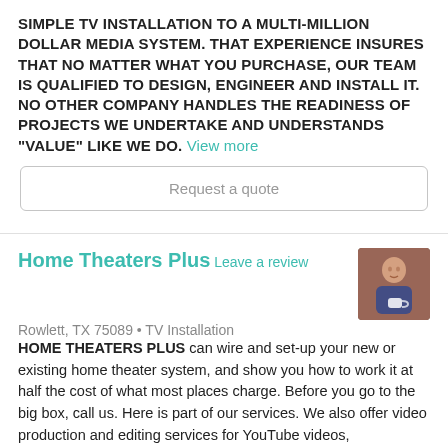SIMPLE TV INSTALLATION TO A MULTI-MILLION DOLLAR MEDIA SYSTEM. THAT EXPERIENCE INSURES THAT NO MATTER WHAT YOU PURCHASE, OUR TEAM IS QUALIFIED TO DESIGN, ENGINEER AND INSTALL IT. NO OTHER COMPANY HANDLES THE READINESS OF PROJECTS WE UNDERTAKE AND UNDERSTANDS "VALUE" LIKE WE DO. View more
Request a quote
Home Theaters Plus
Leave a review
[Figure (photo): Profile photo of a person wearing a blue t-shirt, holding a cup]
Rowlett, TX 75089 • TV Installation
HOME THEATERS PLUS can wire and set-up your new or existing home theater system, and show you how to work it at half the cost of what most places charge. Before you go to the big box, call us. Here is part of our services. We also offer video production and editing services for YouTube videos, promotional... View more
Request a quote